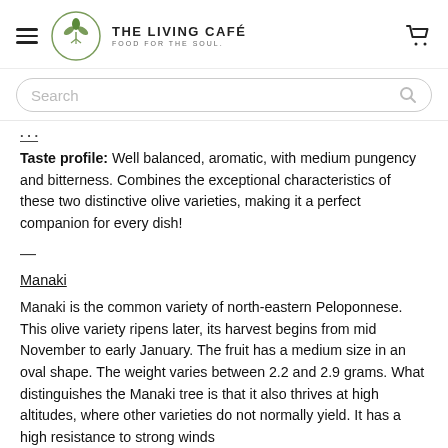THE LIVING CAFÉ — FOOD FOR THE SOUL
Search
Taste profile: Well balanced, aromatic, with medium pungency and bitterness. Combines the exceptional characteristics of these two distinctive olive varieties, making it a perfect companion for every dish!
Manaki
Manaki is the common variety of north-eastern Peloponnese. This olive variety ripens later, its harvest begins from mid November to early January. The fruit has a medium size in an oval shape. The weight varies between 2.2 and 2.9 grams. What distinguishes the Manaki tree is that it also thrives at high altitudes, where other varieties do not normally yield. It has a high resistance to strong winds and cold...